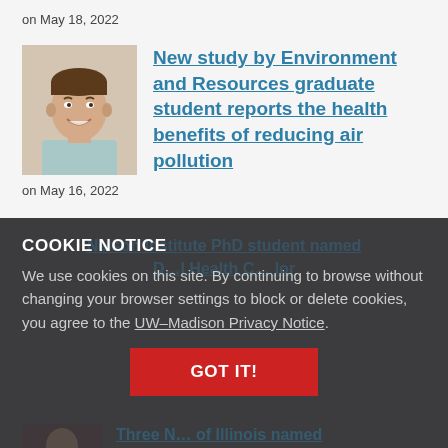on May 18, 2022
[Figure (photo): Headshot photo of a young man smiling, light background]
New study by Environment and Resources graduate student reports the health benefits of reducing air pollution
on May 16, 2022
COOKIE NOTICE
We use cookies on this site. By continuing to browse without changing your browser settings to block or delete cookies, you agree to the UW–Madison Privacy Notice.
GOT IT!
Three N… Vice A…